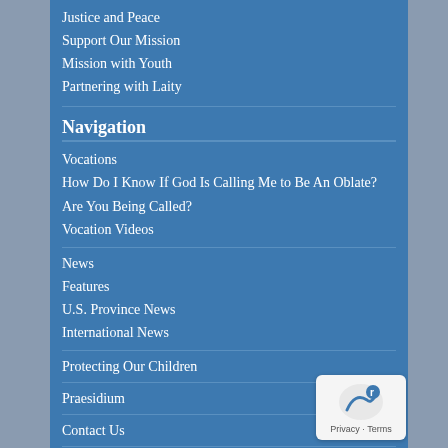Justice and Peace
Support Our Mission
Mission with Youth
Partnering with Laity
Navigation
Vocations
How Do I Know If God Is Calling Me to Be An Oblate?
Are You Being Called?
Vocation Videos
News
Features
U.S. Province News
International News
Protecting Our Children
Praesidium
Contact Us
Looking for something
Eugene de Mazenod Speaks to Us